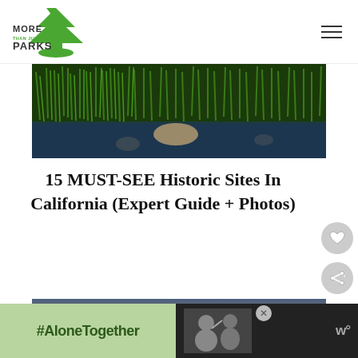[Figure (logo): More Than Just Parks logo - green tree/arrow icon with text]
[Figure (photo): Close-up of lush green grass/plants along a rocky stream or creek]
15 MUST-SEE Historic Sites In California (Expert Guide + Photos)
[Figure (photo): Desert landscape at sunset with mountains in background and bright sun on horizon]
[Figure (infographic): What's Next callout with thumbnail of sunset/sunrise photo and text reading 'Should You Visit DEATH...']
[Figure (photo): Ad banner with #AloneTogether text on green background with photo of people and w° logo]